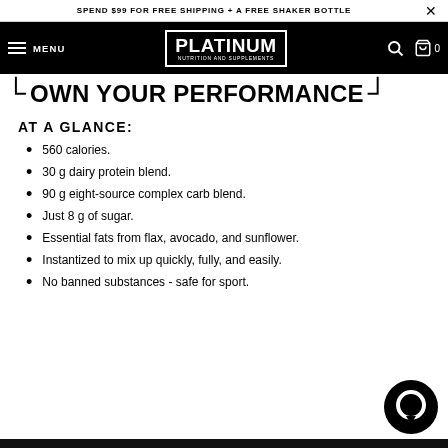SPEND $99 FOR FREE SHIPPING + A FREE SHAKER BOTTLE
[Figure (logo): Platinum Nutrition and Supplements logo in white on black nav bar with MENU, search, and cart icons]
OWN YOUR PERFORMANCE
AT A GLANCE:
560 calories.
30 g dairy protein blend.
90 g eight-source complex carb blend.
Just 8 g of sugar.
Essential fats from flax, avocado, and sunflower.
Instantized to mix up quickly, fully, and easily.
No banned substances - safe for sport.